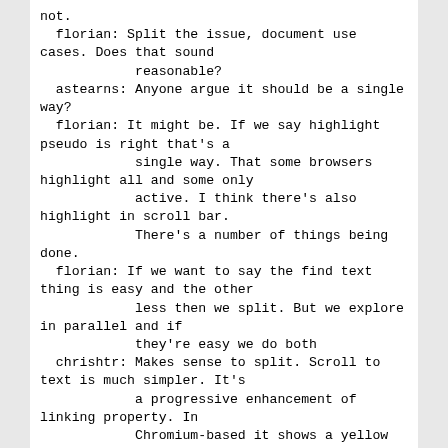not.
  florian: Split the issue, document use cases. Does that sound
            reasonable?
  astearns: Anyone argue it should be a single way?
  florian: It might be. If we say highlight pseudo is right that's a
            single way. That some browsers highlight all and some only
            active. I think there's also highlight in scroll bar.
            There's a number of things being done.
  florian: If we want to say the find text thing is easy and the other
            less then we split. But we explore in parallel and if
            they're easy we do both
  chrishtr: Makes sense to split. Scroll to text is much simpler. It's
            a progressive enhancement of linking property. In
            Chromium-based it shows a yellow that disappears after
            user interactions. It's pretty simple
  chrishtr: I can file a new issue and go into more detail with
            examples
  florian: Thing I wonder about this is the